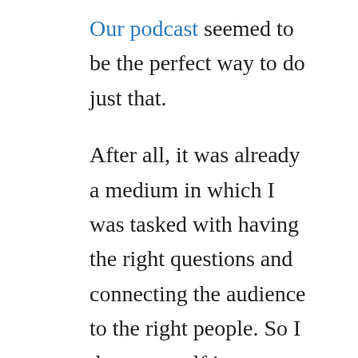Our podcast seemed to be the perfect way to do just that.
After all, it was already a medium in which I was tasked with having the right questions and connecting the audience to the right people. So I threw myself into building a new marketing strategy that revolved around What Works.
We started to build out content strategy more intentionally. We aligned our community focus with our podcast focus. We crafted a